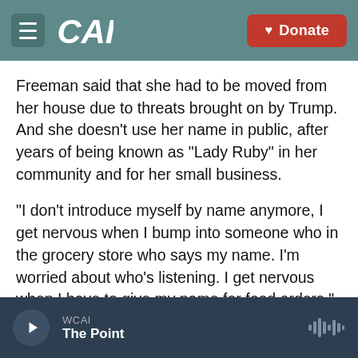CAI | Donate
Freeman said that she had to be moved from her house due to threats brought on by Trump. And she doesn't use her name in public, after years of being known as "Lady Ruby" in her community and for her small business.
"I don't introduce myself by name anymore, I get nervous when I bump into someone who in the grocery store who says my name. I'm worried about who's listening. I get nervous when I have to give my name for food orders," she said.
"I've lost my name, I've lost my reputation, I've lost
WCAI | The Point